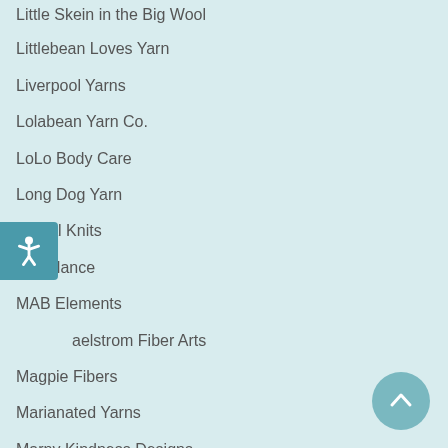Little Skein in the Big Wool
Littlebean Loves Yarn
Liverpool Yarns
Lolabean Yarn Co.
LoLo Body Care
Long Dog Yarn
Lyrical Knits
M K Nance
MAB Elements
Maelstrom Fiber Arts
Magpie Fibers
Marianated Yarns
Marny Kindness Designs
McMullin Fiber Co
Megs & Co
Meiju Knits
Melissa Jean Buttons
Melissa Kemmerer Designs
Miami Fiber Co.